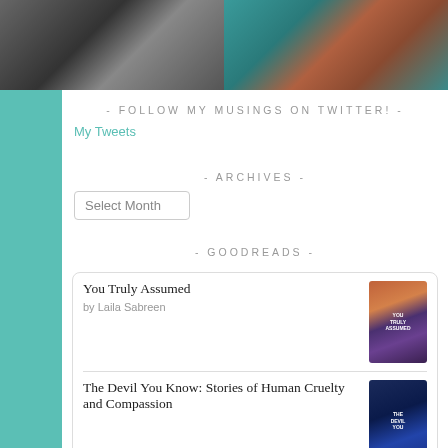[Figure (photo): Two side-by-side photos: left shows people in dark clothing, right shows a woman with auburn/red hair against teal background]
- FOLLOW MY MUSINGS ON TWITTER! -
My Tweets
- ARCHIVES -
Select Month
- GOODREADS -
You Truly Assumed
by Laila Sabreen
The Devil You Know: Stories of Human Cruelty and Compassion